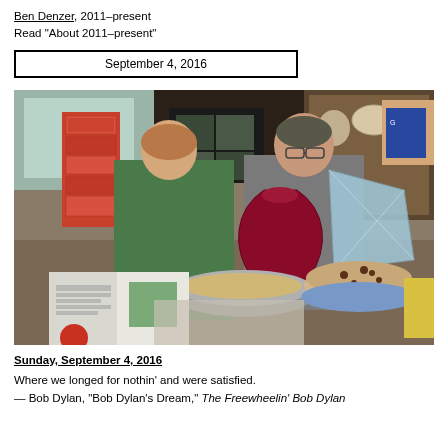Ben Denzer, 2011–present
Read "About 2011–present"
September 4, 2016
[Figure (photo): Two people in a kitchen holding various objects including a decorative red vase cutout, a reflective prism-like shape, with a bowl of food on the counter, a cookie-topped dish, an open book, and stacked red patterned boxes on the left. A woman in green fleece and a man in a gray t-shirt stand at the counter.]
Sunday, September 4, 2016
Where we longed for nothin' and were satisfied.
— Bob Dylan, "Bob Dylan's Dream," The Freewheelin' Bob Dylan